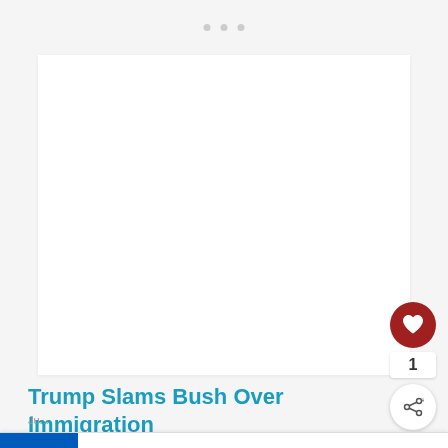[Figure (screenshot): Browser interface top bar with three small gray dots suggesting a loading/tab indicator]
[Figure (photo): Large white advertisement placeholder area]
Trump Slams Bush Over Immigration
[Figure (infographic): Ukraine solidarity banner with blue and yellow flag, text 'We Stand With You', close X button, and weather icon in corner]
Ju... C...